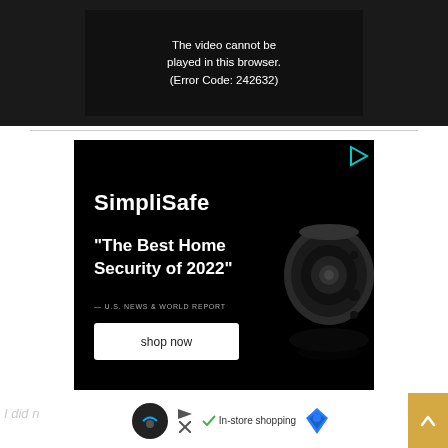[Figure (screenshot): Video player with dark background showing error message: 'The video cannot be played in this browser. (Error Code: 242632)']
[Figure (screenshot): SimpliSafe advertisement on black background with camera image. Text: SimpliSafe, 'The Best Home Security of 2022' — U.S. NEWS & WORLD REPORT, shop now button. Cyan play icon top right.]
I did n... but
[Figure (screenshot): Bottom bar with circular logo, checkmark 'In-store shopping' text, map direction icon, and orange scroll-to-top button with up arrow]